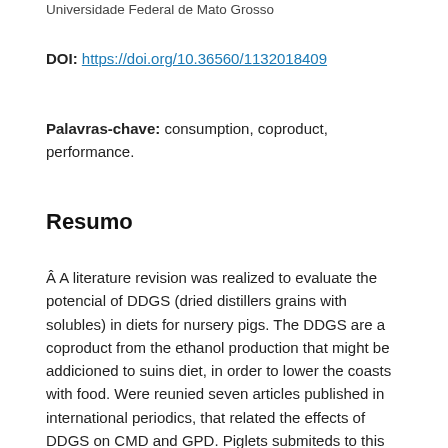Universidade Federal de Mato Grosso
DOI: https://doi.org/10.36560/1132018409
Palavras-chave: consumption, coproduct, performance.
Resumo
Â A literature revision was realized to evaluate the potencial of DDGS (dried distillers grains with solubles) in diets for nursery pigs. The DDGS are a coproduct from the ethanol production that might be addicioned to suins diet, in order to lower the coasts with food. Were reunied seven articles published in international periodics, that related the effects of DDGS on CMD and GPD. Piglets submiteds to this diet with higher levels of DDGS had worst performance. Significant diferences were found for GPD and CMD for pigs fed with 20% of corn DDGS. Altho...